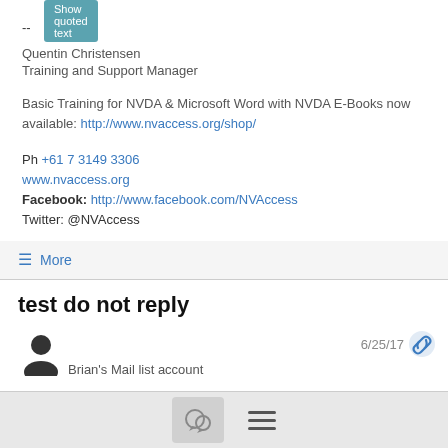[Figure (screenshot): Show quoted text teal button at top]
--
Quentin Christensen
Training and Support Manager
Basic Training for NVDA & Microsoft Word with NVDA E-Books now available: http://www.nvaccess.org/shop/
Ph +61 7 3149 3306
www.nvaccess.org
Facebook: http://www.facebook.com/NVAccess
Twitter: @NVAccess
≡ More
test do not reply
Brian's Mail list account
6/25/17